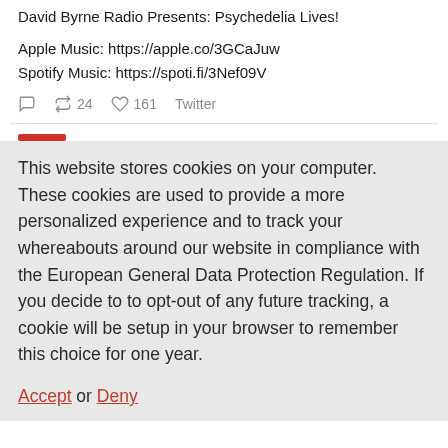David Byrne Radio Presents: Psychedelia Lives!
Apple Music: https://apple.co/3GCaJuw
Spotify Music: https://spoti.fi/3Nef09V
24 retweets  161 likes  Twitter
This website stores cookies on your computer. These cookies are used to provide a more personalized experience and to track your whereabouts around our website in compliance with the European General Data Protection Regulation. If you decide to to opt-out of any future tracking, a cookie will be setup in your browser to remember this choice for one year.
Accept or Deny